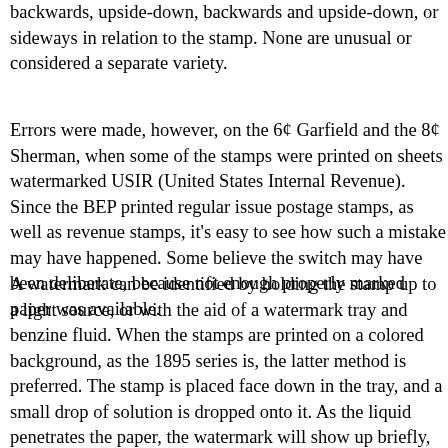backwards, upside-down, backwards and upside-down, or sideways in relation to the stamp. None are unusual or considered a separate variety.
Errors were made, however, on the 6¢ Garfield and the 8¢ Sherman, when some of the stamps were printed on sheets watermarked USIR (United States Internal Revenue). Since the BEP printed regular issue postage stamps, as well as revenue stamps, it's easy to see how such a mistake may have happened. Some believe the switch may have been deliberate, because not enough properly marked paper was available.
A watermark can be identified by holding the stamp up to a light source, or with the aid of a watermark tray and benzine fluid. When the stamps are printed on a colored background, as the 1895 series is, the latter method is preferred. The stamp is placed face down in the tray, and a small drop of solution is dropped onto it. As the liquid penetrates the paper, the watermark will show up briefly, as the thinner paper is penetrated first.